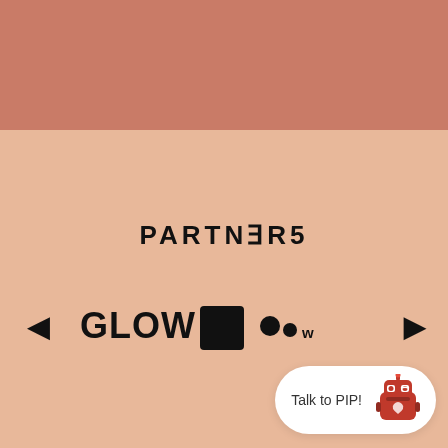[Figure (screenshot): App UI screenshot showing a partners page with a salmon/terracotta top bar header, a 'PARTNERS' title in bold spaced lettering, navigation arrows (left and right), a 'GLOW' brand logo with a dark square icon and dot-pattern logo, and a 'Talk to PIP!' chatbot button in the bottom right corner.]